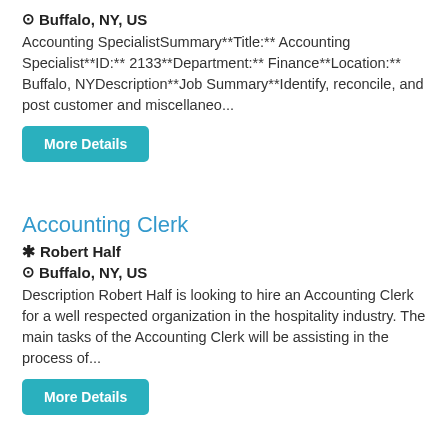⊙ Buffalo, NY, US
Accounting SpecialistSummary**Title:** Accounting Specialist**ID:** 2133**Department:** Finance**Location:** Buffalo, NYDescription**Job Summary**Identify, reconcile, and post customer and miscellaneo...
More Details
Accounting Clerk
❋ Robert Half
⊙ Buffalo, NY, US
Description Robert Half is looking to hire an Accounting Clerk for a well respected organization in the hospitality industry. The main tasks of the Accounting Clerk will be assisting in the process of...
More Details